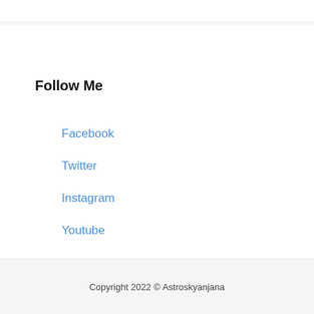Follow Me
Facebook
Twitter
Instagram
Youtube
Copyright 2022 © Astroskyanjana